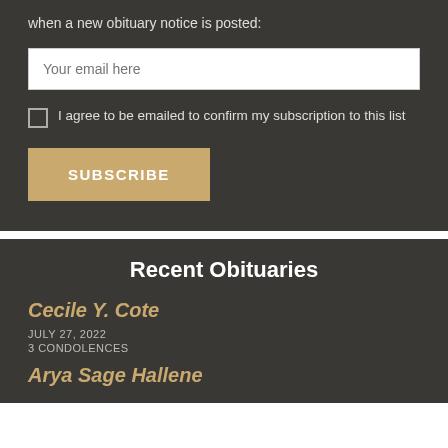when a new obituary notice is posted:
Your email here
I agree to be emailed to confirm my subscription to this list
SUBSCRIBE
Recent Obituaries
Cecile Y. Cote
JULY 27, 2022
3 CONDOLENCES
Arya Sage Hallene